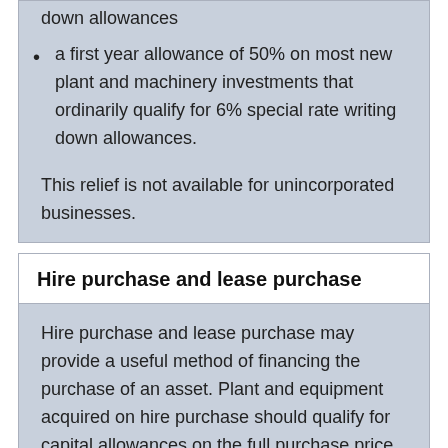a first year allowance of 50% on most new plant and machinery investments that ordinarily qualify for 6% special rate writing down allowances.
This relief is not available for unincorporated businesses.
Hire purchase and lease purchase
Hire purchase and lease purchase may provide a useful method of financing the purchase of an asset. Plant and equipment acquired on hire purchase should qualify for capital allowances on the full purchase price, even if the company has paid only the deposit